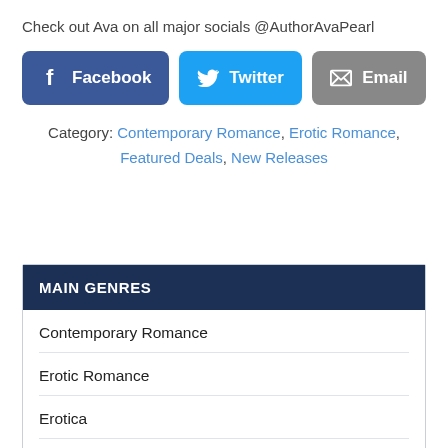Check out Ava on all major socials @AuthorAvaPearl
[Figure (infographic): Three social share buttons: Facebook (dark blue), Twitter (light blue), Email (gray), each with icon and label]
Category: Contemporary Romance, Erotic Romance, Featured Deals, New Releases
MAIN GENRES
Contemporary Romance
Erotic Romance
Erotica
Fantasy Romance